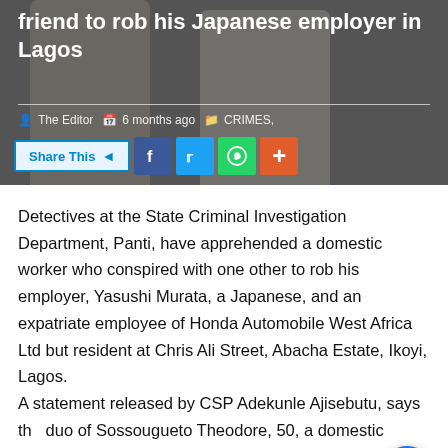[Figure (photo): Two men standing, photo used as hero background image for news article about robbery]
friend to rob his Japanese employer in Lagos
The Editor  6 months ago  CRIMES,
Share This  [Facebook] [Twitter] [WhatsApp] [More]
Detectives at the State Criminal Investigation Department, Panti, have apprehended a domestic worker who conspired with one other to rob his employer, Yasushi Murata, a Japanese, and an expatriate employee of Honda Automobile West Africa Ltd but resident at Chris Ali Street, Abacha Estate, Ikoyi, Lagos.
A statement released by CSP Adekunle Ajisebutu, says the duo of Sossougueto Theodore, 50, a domestic worker to the